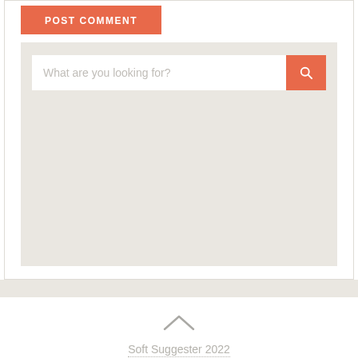[Figure (screenshot): POST COMMENT button in orange/coral color with white uppercase text]
[Figure (screenshot): Search widget with input field placeholder 'What are you looking for?' and orange search button with magnifying glass icon, on a beige background]
[Figure (illustration): Chevron/caret up arrow icon in gray]
Soft Suggester 2022
Privacy Policy | About US | Contact Us | Disclaimer